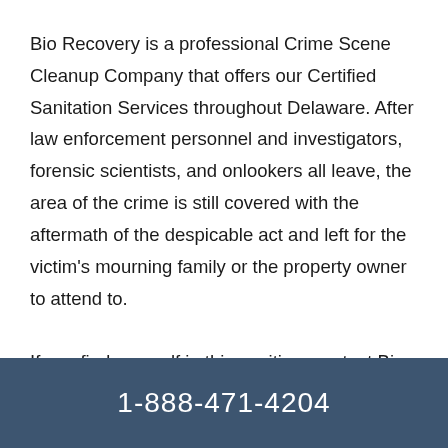Bio Recovery is a professional Crime Scene Cleanup Company that offers our Certified Sanitation Services throughout Delaware. After law enforcement personnel and investigators, forensic scientists, and onlookers all leave, the area of the crime is still covered with the aftermath of the despicable act and left for the victim's mourning family or the property owner to attend to.

If you find yourself in this position, contact Bio Recovery for help today.
1-888-471-4204